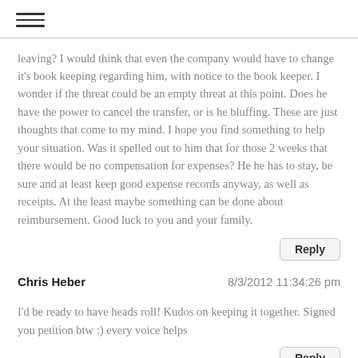≡
leaving? I would think that even the company would have to change it's book keeping regarding him, with notice to the book keeper. I wonder if the threat could be an empty threat at this point. Does he have the power to cancel the transfer, or is he bluffing. These are just thoughts that come to my mind. I hope you find something to help your situation. Was it spelled out to him that for those 2 weeks that there would be no compensation for expenses? He he has to stay, be sure and at least keep good expense records anyway, as well as receipts. At the least maybe something can be done about reimbursement. Good luck to you and your family.
Chris Heber   8/3/2012 11:34:26 pm
I'd be ready to have heads roll! Kudos on keeping it together. Signed you petition btw :) every voice helps